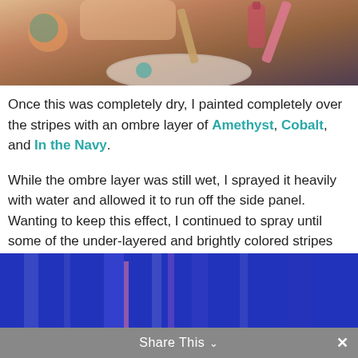[Figure (photo): Top portion of a craft/painting photo showing hands, paper plate, paint supplies with colorful background]
Once this was completely dry, I painted completely over the stripes with an ombre layer of Amethyst, Cobalt, and In the Navy.
While the ombre layer was still wet, I sprayed it heavily with water and allowed it to run off the side panel.  Wanting to keep this effect, I continued to spray until some of the under-layered and brightly colored stripes were exposed.
[Figure (photo): Bottom portion of a painting showing blue/purple ombre effect with colorful stripes visible underneath]
Share This ∨  ✕